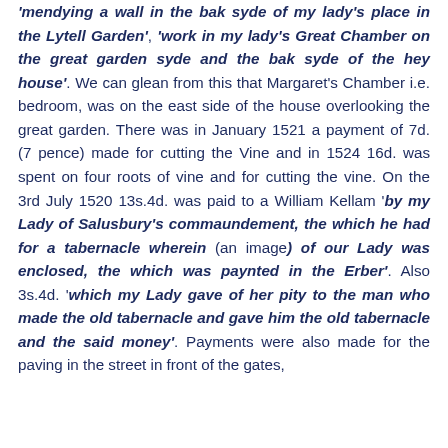'mendying a wall in the bak syde of my lady's place in the Lytell Garden', 'work in my lady's Great Chamber on the great garden syde and the bak syde of the hey house'. We can glean from this that Margaret's Chamber i.e. bedroom, was on the east side of the house overlooking the great garden. There was in January 1521 a payment of 7d. (7 pence) made for cutting the Vine and in 1524 16d. was spent on four roots of vine and for cutting the vine. On the 3rd July 1520 13s.4d. was paid to a William Kellam 'by my Lady of Salusbury's commaundement, the which he had for a tabernacle wherein (an image) of our Lady was enclosed, the which was paynted in the Erber'. Also 3s.4d. 'which my Lady gave of her pity to the man who made the old tabernacle and gave him the old tabernacle and the said money'. Payments were also made for the paving in the street in front of the gates,